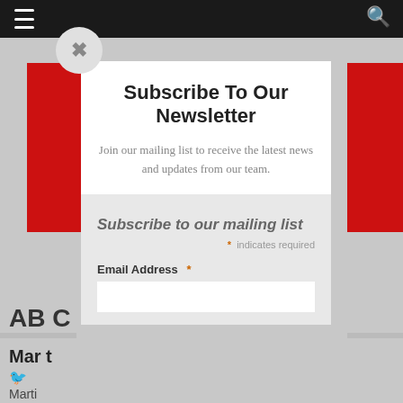Navigation bar with hamburger menu and search icon
Subscribe To Our Newsletter
Join our mailing list to receive the latest news and updates from our team.
Subscribe to our mailing list
* indicates required
Email Address *